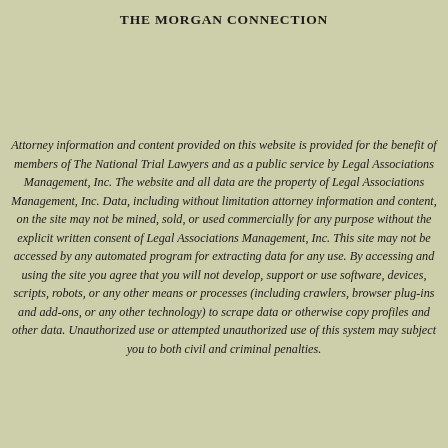THE MORGAN CONNECTION
Attorney information and content provided on this website is provided for the benefit of members of The National Trial Lawyers and as a public service by Legal Associations Management, Inc. The website and all data are the property of Legal Associations Management, Inc. Data, including without limitation attorney information and content, on the site may not be mined, sold, or used commercially for any purpose without the explicit written consent of Legal Associations Management, Inc. This site may not be accessed by any automated program for extracting data for any use. By accessing and using the site you agree that you will not develop, support or use software, devices, scripts, robots, or any other means or processes (including crawlers, browser plug-ins and add-ons, or any other technology) to scrape data or otherwise copy profiles and other data. Unauthorized use or attempted unauthorized use of this system may subject you to both civil and criminal penalties.